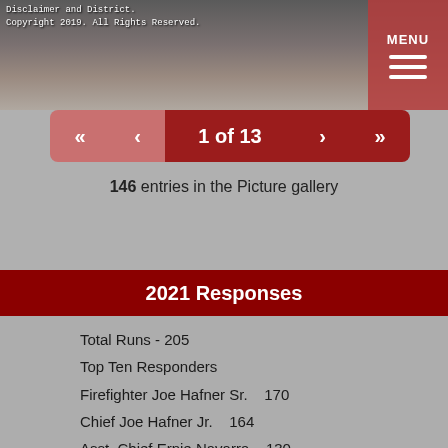[Figure (photo): Background photo of fire scene or landscape, with copyright text overlay: 'Disclaimer and District. Copyright 2019. All Rights Reserved.']
1 of 13
146 entries in the Picture gallery
2021 Responses
Total Runs - 205
Top Ten Responders
Firefighter Joe Hafner Sr.    170
Chief Joe Hafner Jr.    164
Asst. Chief Ernie Navarra    130
Asst. Chief Mike Schabot    116
Lt. Ray Stegner    116
Past Chief Kevin Keller    113